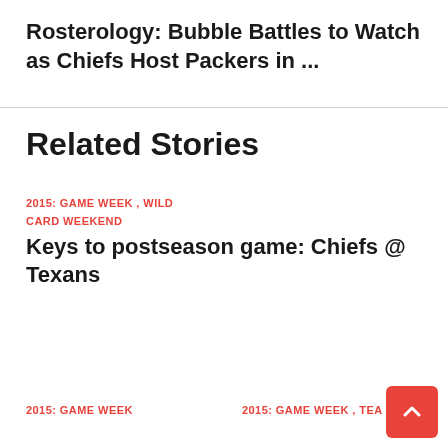Rosterology: Bubble Battles to Watch as Chiefs Host Packers in ...
Related Stories
2015: GAME WEEK , WILD CARD WEEKEND
Keys to postseason game: Chiefs @ Texans
2015: GAME WEEK
2015: GAME WEEK , TEA